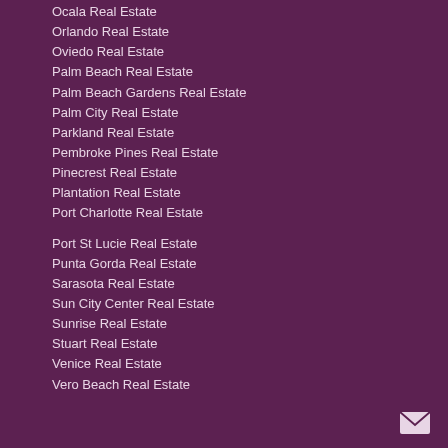Ocala Real Estate
Orlando Real Estate
Oviedo Real Estate
Palm Beach Real Estate
Palm Beach Gardens Real Estate
Palm City Real Estate
Parkland Real Estate
Pembroke Pines Real Estate
Pinecrest Real Estate
Plantation Real Estate
Port Charlotte Real Estate
Port St Lucie Real Estate
Punta Gorda Real Estate
Sarasota Real Estate
Sun City Center Real Estate
Sunrise Real Estate
Stuart Real Estate
Venice Real Estate
Vero Beach Real Estate